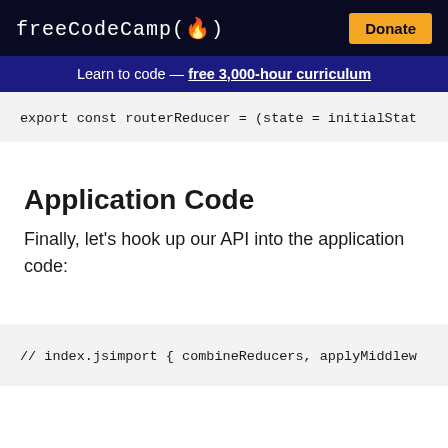freeCodeCamp(🔥)   Donate
Learn to code — free 3,000-hour curriculum
export const routerReducer = (state = initialStat
Application Code
Finally, let's hook up our API into the application code:
// index.jsimport { combineReducers, applyMiddlew